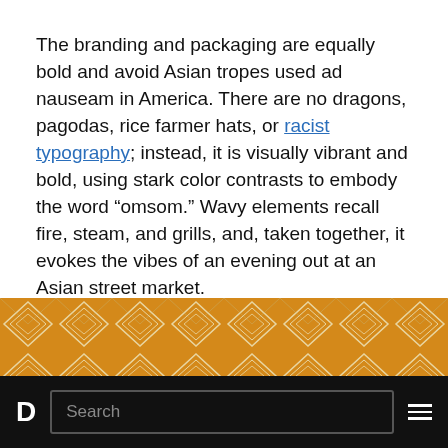The branding and packaging are equally bold and avoid Asian tropes used ad nauseam in America. There are no dragons, pagodas, rice farmer hats, or racist typography; instead, it is visually vibrant and bold, using stark color contrasts to embody the word “omsom.” Wavy elements recall fire, steam, and grills, and, taken together, it evokes the vibes of an evening out at an Asian street market.
[Figure (illustration): Bottom portion of a golden-yellow decorative pattern with geometric diamond/chevron shapes in cream/white outlines on an amber background, resembling packaging or textile design.]
D  Search  ☰